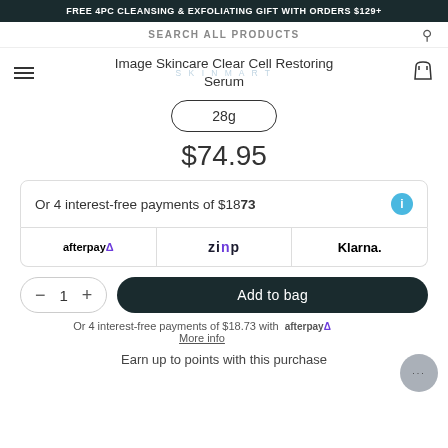FREE 4PC CLEANSING & EXFOLIATING GIFT WITH ORDERS $129+
SEARCH ALL PRODUCTS
Image Skincare Clear Cell Restoring Serum
28g
$74.95
Or 4 interest-free payments of $18.73
[Figure (logo): Payment method logos: Afterpay, Zip, Klarna]
1
Add to bag
Or 4 interest-free payments of $18.73 with afterpay. More info
Earn up to points with this purchase